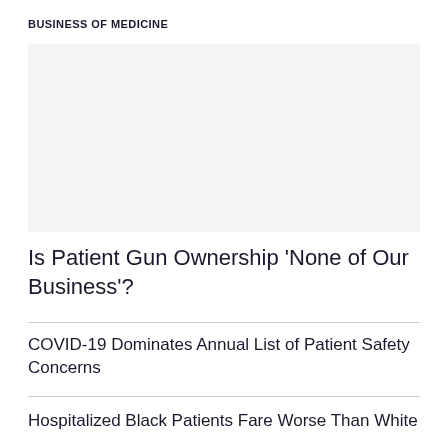BUSINESS OF MEDICINE
[Figure (photo): Image area placeholder for a photo related to the article]
Is Patient Gun Ownership 'None of Our Business'?
COVID-19 Dominates Annual List of Patient Safety Concerns
Hospitalized Black Patients Fare Worse Than White